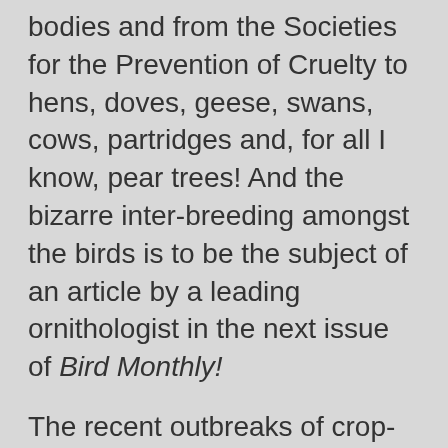bodies and from the Societies for the Prevention of Cruelty to hens, doves, geese, swans, cows, partridges and, for all I know, pear trees! And the bizarre inter-breeding amongst the birds is to be the subject of an article by a leading ornithologist in the next issue of Bird Monthly!
The recent outbreaks of crop-blight, fowl-pest and foot-and-mouth disease have now reached epidemic proportions; and if the antics I witnessed behind the pear trees this afternoon are anything to go by, several of the milkmaids should soon find themselves in, what polite society calls, an interesting condition.